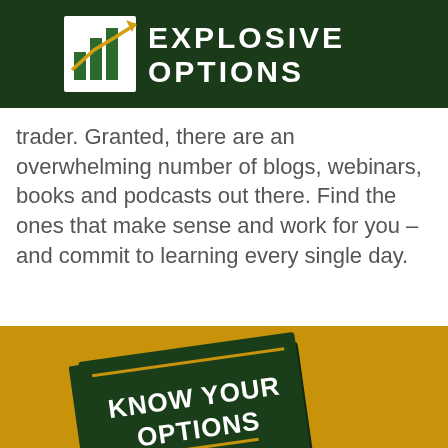[Figure (logo): Explosive Options logo: dark green header bar with a bar chart icon (showing upward trend with gold arrow) and the text 'EXPLOSIVE OPTIONS' in white bold uppercase letters]
trader. Granted, there are an overwhelming number of blogs, webinars, books and podcasts out there. Find the ones that make sense and work for you – and commit to learning every single day.
[Figure (photo): A book titled 'KNOW YOUR OPTIONS' displayed on a gold/amber background. The book has a dark green cover with white bold text and a gold underline. Subtitle text reads 'Proven Options Analysis' partially visible.]